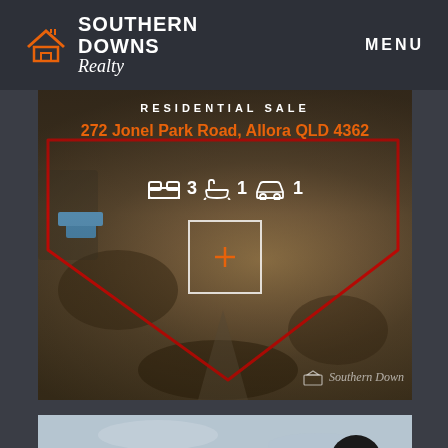[Figure (logo): Southern Downs Realty logo with house icon in orange/white on dark background, with MENU text on right]
[Figure (photo): Aerial drone photo of rural property at 272 Jonel Park Road, Allora QLD 4362, showing land boundary marked in red, brown/dry paddock land, with overlay showing RESIDENTIAL SALE label, property address in orange, 3 bed 1 bath 1 garage icons in white, expand/plus button in center, and Southern Downs watermark]
[Figure (photo): Second partial photo panel showing sky and landscape, with dark circular phone/contact icon button overlay in bottom right]